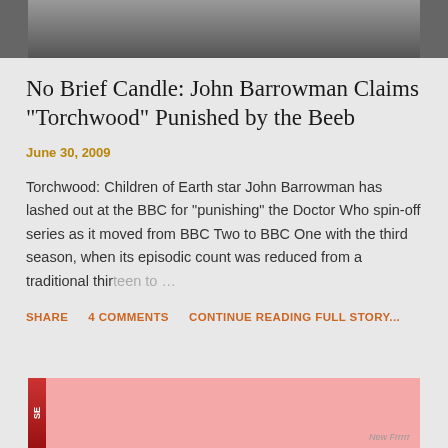[Figure (photo): Top portion of a photo showing a person in dark clothing, cropped at the top of the page]
No Brief Candle: John Barrowman Claims "Torchwood" Punished by the Beeb
June 30, 2009
Torchwood: Children of Earth star John Barrowman has lashed out at the BBC for "punishing" the Doctor Who spin-off series as it moved from BBC Two to BBC One with the third season, when its episodic count was reduced from a traditional thirteen to …
SHARE   4 COMMENTS   CONTINUE READING FULL STORY...
[Figure (photo): Bottom portion of the page showing the top of a new article with a pink background, a woman's hair/head visible, and partial text]